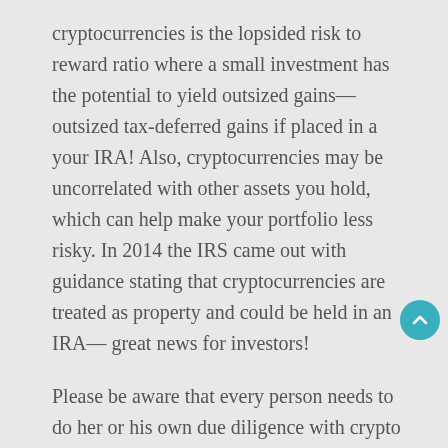cryptocurrencies is the lopsided risk to reward ratio where a small investment has the potential to yield outsized gains—outsized tax-deferred gains if placed in a your IRA! Also, cryptocurrencies may be uncorrelated with other assets you hold, which can help make your portfolio less risky. In 2014 the IRS came out with guidance stating that cryptocurrencies are treated as property and could be held in an IRA— great news for investors!
Please be aware that every person needs to do her or his own due diligence with crypto IRA's as with any investment!
To begin with there are only a few ways to hold crypto in your IRA:
Greyscale Bitcoin Investment Trust (OTC:GBTC)—You